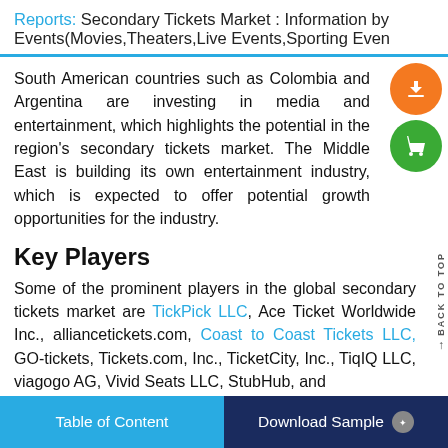Reports: Secondary Tickets Market : Information by Events(Movies,Theaters,Live Events,Sporting Even
South American countries such as Colombia and Argentina are investing in media and entertainment, which highlights the potential in the region's secondary tickets market. The Middle East is building its own entertainment industry, which is expected to offer potential growth opportunities for the industry.
Key Players
Some of the prominent players in the global secondary tickets market are TickPick LLC, Ace Ticket Worldwide Inc., alliancetickets.com, Coast to Coast Tickets LLC, GO-tickets, Tickets.com, Inc., TicketCity, Inc., TiqIQ LLC, viagogo AG, Vivid Seats LLC, StubHub, and
Table of Content | Download Sample